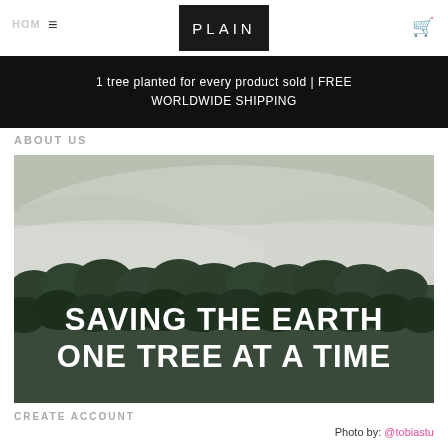PLAIN
1 tree planted for every product sold | FREE WORLDWIDE SHIPPING
ABOUT US
[Figure (photo): Misty forest landscape with fog rolling over green treetops and mountains in the background. White bold text overlay reads: SAVING THE EARTH ONE TREE AT A TIME]
CREATE ACCOUNT
Photo by: @tobiastu